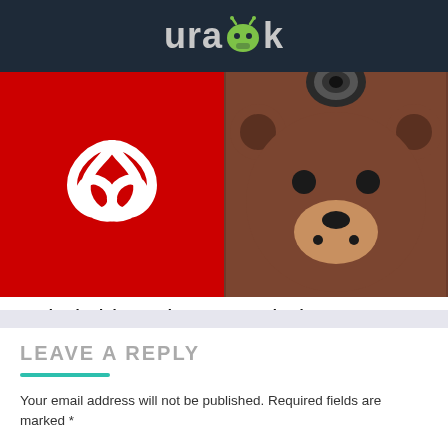urapk
[Figure (screenshot): Adobe Acrobat Reader app icon - red background with white Acrobat infinity/ribbon logo]
Download Adobe Acrobat R...
[Figure (screenshot): LINE Camera app icon - brown cartoon bear face with camera lens visible at top]
Download LINE Camera APK
LEAVE A REPLY
Your email address will not be published. Required fields are marked *
Comment *